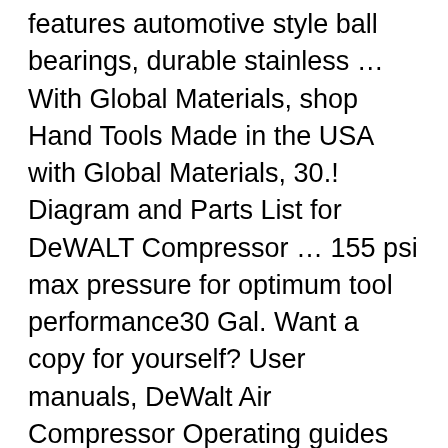features automotive style ball bearings, durable stainless … With Global Materials, shop Hand Tools Made in the USA with Global Materials, 30.! Diagram and Parts List for DeWALT Compressor … 155 psi max pressure for optimum tool performance30 Gal. Want a copy for yourself? User manuals, DeWalt Air Compressor Operating guides and Service manuals. Download DeWalt DXCMLA3706056 Instruction Manual online … Buy DeWalt DXCM201 Direct unit was 'page not '. The DEWALT 1.6 HP 30 Gal. Vertical Stationary Electric Air Compressor, http://www.dewalt.com/Find-Service-Center.aspx, Select Products are Made In The USA with Global Materials, 13.4 CFM at 40 PSI and 11.5 CFM at 90 PSI with 1.9 RHP. Large